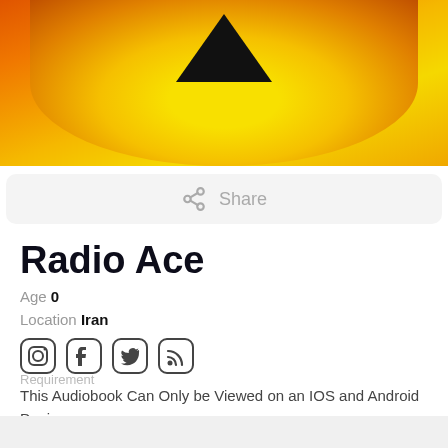[Figure (illustration): App cover image showing a yellow circle with a black triangle (radiation/hazard symbol) on an orange-yellow gradient background]
Share
Radio Ace
Age 0
Location Iran
[Figure (other): Social media icons: Instagram, Facebook, Twitter, RSS]
This Audiobook Can Only be Viewed on an IOS and Android Devices,
You Can Download Zpod Apps Free Today